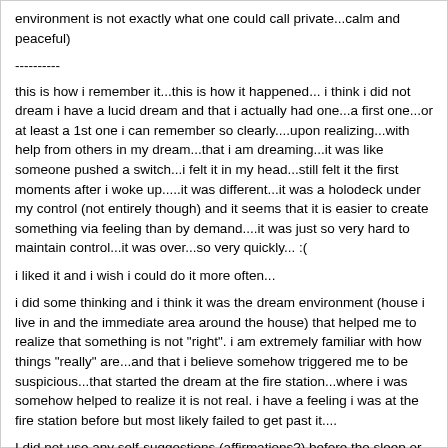environment is not exactly what one could call private...calm and peaceful)
----------
this is how i remember it...this is how it happened... i think i did not dream i have a lucid dream and that i actually had one...a first one...or at least a 1st one i can remember so clearly....upon realizing...with help from others in my dream...that i am dreaming...it was like someone pushed a switch...i felt it in my head...still felt it the first moments after i woke up.....it was different...it was a holodeck under my control (not entirely though) and it seems that it is easier to create something via feeling than by demand....it was just so very hard to maintain control...it was over...so very quickly... :(
i liked it and i wish i could do it more often...
i did some thinking and i think it was the dream environment (house i live in and the immediate area around the house) that helped me to realize that something is not "right". i am extremely familiar with how things "really" are...and that i believe somehow triggered me to be suspicious...that started the dream at the fire station...where i was somehow helped to realize it is not real. i have a feeling i was at the fire station before but most likely failed to get past it....
I did not use any self-suggestions (affirmations?) before the sleep or anything....I do not recall/remember anything out of the ordinary that Friday or the time before i went to sleep. I have 0 idea about how that happened and how to make it to happen again.